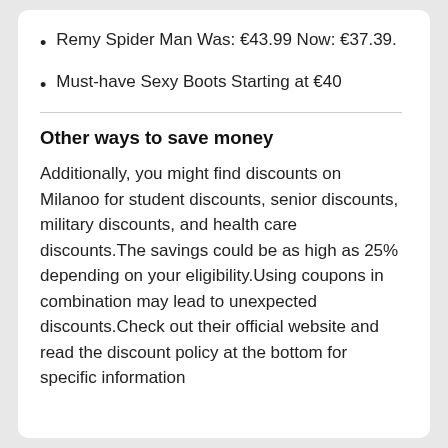Remy Spider Man Was: €43.99 Now: €37.39.
Must-have Sexy Boots Starting at €40
Other ways to save money
Additionally, you might find discounts on Milanoo for student discounts, senior discounts, military discounts, and health care discounts.The savings could be as high as 25% depending on your eligibility.Using coupons in combination may lead to unexpected discounts.Check out their official website and read the discount policy at the bottom for specific information